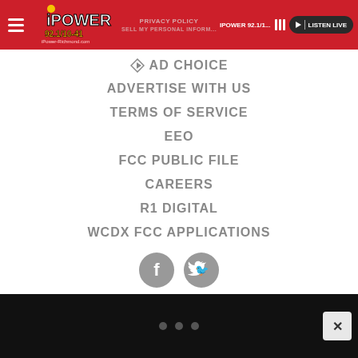iPOWER 92.1/10-4... | LISTEN LIVE
PRIVACY POLICY
SELL MY PERSONAL INFORM...
AD CHOICE
ADVERTISE WITH US
TERMS OF SERVICE
EEO
FCC PUBLIC FILE
CAREERS
R1 DIGITAL
WCDX FCC APPLICATIONS
[Figure (other): Facebook and Twitter social media icon buttons]
...